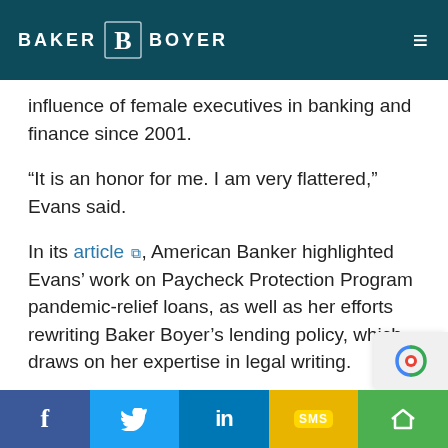BAKER BOYER
influence of female executives in banking and finance since 2001.
“It is an honor for me. I am very flattered,” Evans said.
In its article ⧉, American Banker highlighted Evans’ work on Paycheck Protection Program pandemic-relief loans, as well as her efforts rewriting Baker Boyer’s lending policy, which draws on her expertise in legal writing.
Trained as an attorney, Evans worked in prosecution and civil litigation before she moved to Walla Wa
f  🐦  in  SMS  ‹